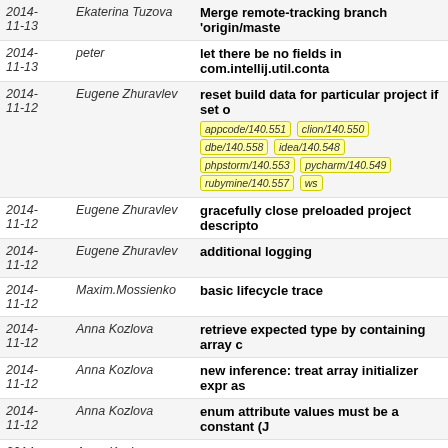| Date | Author | Message |
| --- | --- | --- |
| 2014-11-13 | Ekaterina Tuzova | Merge remote-tracking branch 'origin/maste... |
| 2014-11-13 | peter | let there be no fields in com.intellij.util.conta... |
| 2014-11-12 | Eugene Zhuravlev | reset build data for particular project if set o... [appcode/140.551, clion/140.550, dbe/140.558, idea/140.548, phpstorm/140.553, pycharm/140.549, rubymine/140.557, ws...] |
| 2014-11-12 | Eugene Zhuravlev | gracefully close preloaded project descripto... |
| 2014-11-12 | Eugene Zhuravlev | additional logging |
| 2014-11-12 | Maxim.Mossienko | basic lifecycle trace |
| 2014-11-12 | Anna Kozlova | retrieve expected type by containing array c... |
| 2014-11-12 | Anna Kozlova | new inference: treat array initializer expr as... |
| 2014-11-12 | Anna Kozlova | enum attribute values must be a constant (J... |
| 2014-11-12 | Anna Kozlova | workaround for opened captures (IDEA-1327... |
| 2014-11-12 | Anna Kozlova | testdata for IDEA-132725 |
| 2014-11-12 | Anna Kozlova | convert to stream: support nested condition... |
| 2014-11-12 | Andrey Vlasovskikh | Snapshot of python-skeletons @ a3175f6 |